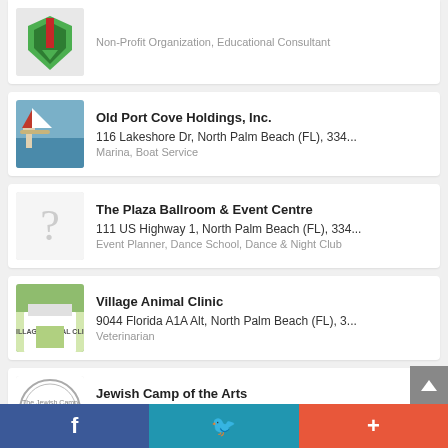Non-Profit Organization, Educational Consultant
Old Port Cove Holdings, Inc. | 116 Lakeshore Dr, North Palm Beach (FL), 334... | Marina, Boat Service
The Plaza Ballroom & Event Centre | 111 US Highway 1, North Palm Beach (FL), 334... | Event Planner, Dance School, Dance & Night Club
Village Animal Clinic | 9044 Florida A1A Alt, North Palm Beach (FL), 3... | Veterinarian
Jewish Camp of the Arts | 844 Prosperity Farms Rd, North Palm Beach (F... | Day Care, Educational Camp, Campus Building